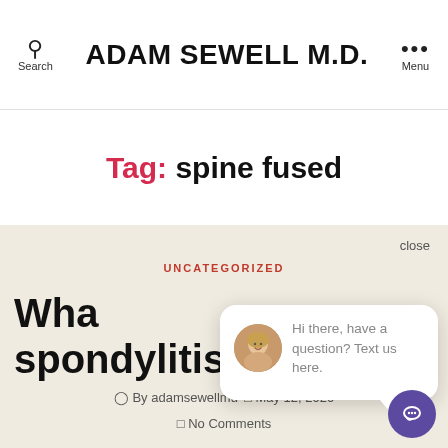ADAM SEWELL M.D.
Tag: spine fused
UNCATEGORIZED
Wha... spondylitis?
By adamsewellmd   May 12, 2020
No Comments
[Figure (screenshot): Chat popup with avatar of a woman and text: Hi there, have a question? Text us here. Close button in top right. Purple chat bubble button in bottom right corner.]